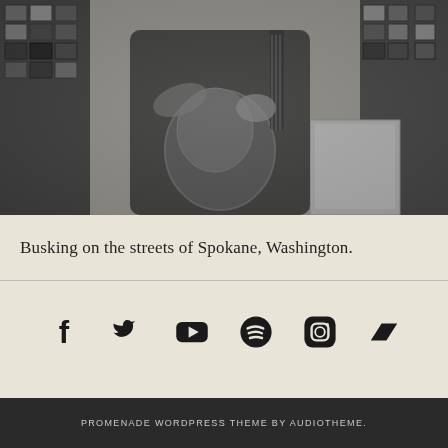[Figure (photo): Black and white photograph of a person playing an acoustic guitar while busking outdoors near a brick wall and stone pillar.]
Busking on the streets of Spokane, Washington.
[Figure (infographic): Row of social media icons: Facebook, Twitter, YouTube, Spotify, Instagram, and Bandcamp]
PROMENADE WORDPRESS THEME BY AUDIOTHEME.